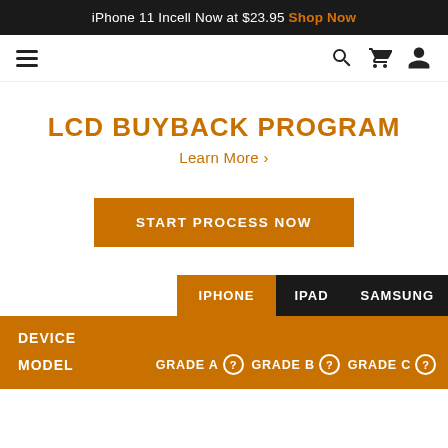iPhone 11 Incell Now at $23.95 Shop Now
LCD BUYBACK PROGRAM
Learn More >
START PROCESS NOW
| DEVICE | MODEL | GRADE A | GRADE B | GRADE C |
| --- | --- | --- | --- | --- |
| IPHONE | IPAD | SAMSUNG |  |  |  |